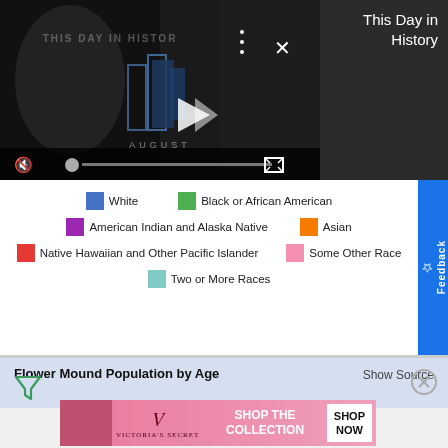[Figure (screenshot): Video player showing 'This Day in History' with playback controls, mute icon, progress bar, and fullscreen icon on dark background]
This Day in History
[Figure (infographic): Race/ethnicity legend with colored swatches: White (blue), Black or African American (green), American Indian and Alaska Native (purple), Asian (orange), Native Hawaiian and Other Pacific Islander (red), Some Other Race (pink), Two or More Races (teal)]
Flower Mound Population by Age
Show Source
[Figure (other): Advertisement banner for Victoria's Secret showing a model and 'SHOP THE COLLECTION' text with SHOP NOW button]